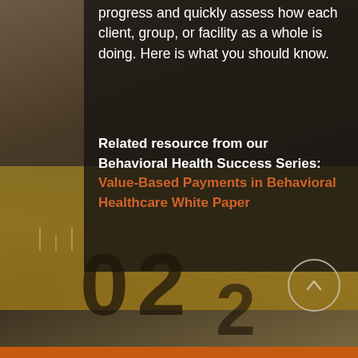progress and quickly assess how each client, group, or facility as a whole is doing. Here is what you should know.
Related resource from our Behavioral Health Success Series: Value-Based Payments in Behavioral Healthcare White Paper
[Figure (other): Scroll-to-top button: circular outline with upward arrow, positioned bottom-right of page]